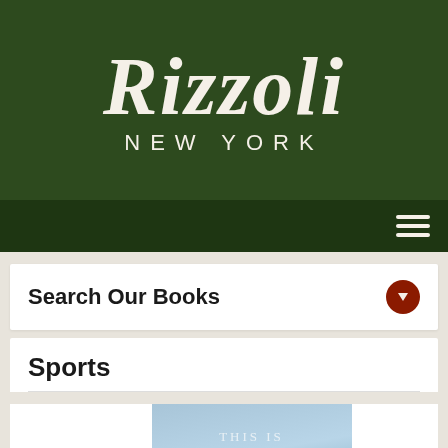[Figure (logo): Rizzoli New York publisher logo in white serif italic script on dark green background]
[Figure (other): Dark olive green navigation bar with hamburger menu icon (three white horizontal lines) on the right side]
Search Our Books
Sports
[Figure (photo): Book cover for 'This Is Cricket: In the Spirit of the Game' by Daniel Melamed, showing a light blue sky background with white serif text and a yellow circular emblem at the bottom right]